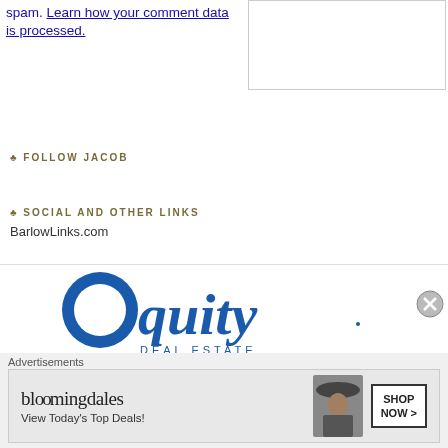spam. Learn how your comment data is processed.
♣ FOLLOW JACOB
♣ SOCIAL AND OTHER LINKS
BarlowLinks.com
[Figure (logo): Equity Real Estate logo in blue]
Advertisements
[Figure (screenshot): Bloomingdales advertisement banner: 'bloomingdales View Today's Top Deals!' with SHOP NOW > button and woman in wide-brim hat]